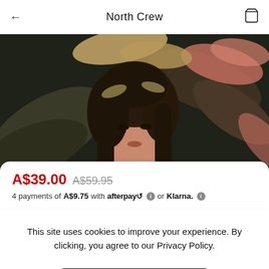North Crew
[Figure (photo): Fashion product photo of a woman with long brown hair against a dark tropical leaf background]
A$39.00  A$59.95
4 payments of A$9.75 with afterpay or Klarna.
This site uses cookies to improve your experience. By clicking, you agree to our Privacy Policy.
Accept cookies